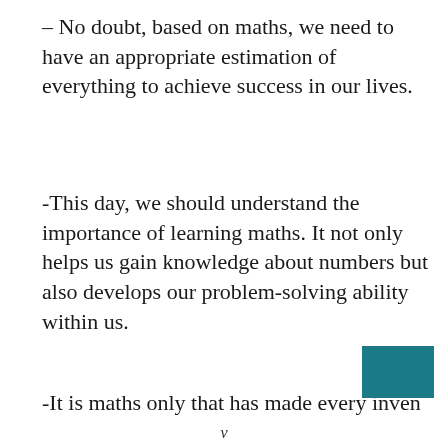– No doubt, based on maths, we need to have an appropriate estimation of everything to achieve success in our lives.
-This day, we should understand the importance of learning maths. It not only helps us gain knowledge about numbers but also develops our problem-solving ability within us.
-It is maths only that has made every inven…
v